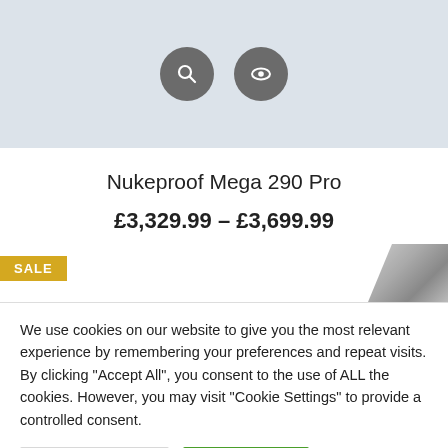[Figure (screenshot): Product image area with light blue-grey background showing two circular icon buttons: a magnifying glass (search) icon and an eye (preview) icon, both grey circles with white icons.]
Nukeproof Mega 290 Pro
£3,329.99 – £3,699.99
[Figure (screenshot): Sale badge in yellow/gold with text SALE, and partial product image visible at right edge.]
We use cookies on our website to give you the most relevant experience by remembering your preferences and repeat visits. By clicking "Accept All", you consent to the use of ALL the cookies. However, you may visit "Cookie Settings" to provide a controlled consent.
Cookie Settings
Accept All